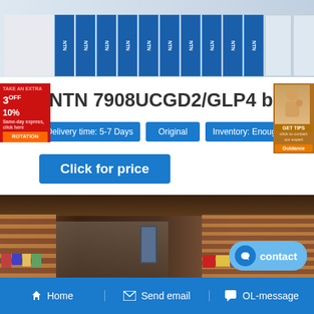[Figure (photo): Warehouse shelves stacked with blue NTN bearing boxes]
NTN 7908UCGD2/GLP4 bearing
Delivery time: 5-7 Days | Original | Inventory: Enough
Click for price
[Figure (photo): Large warehouse interior with shelves full of bearing inventory]
Home | Send email | OL-message